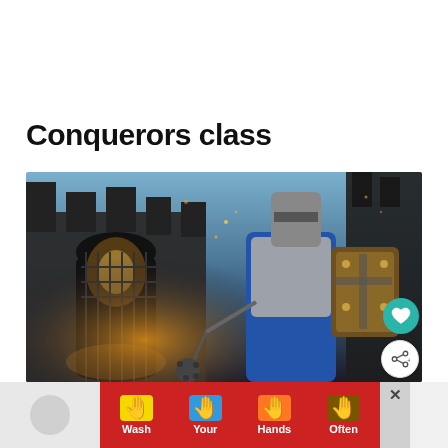Conquerors class
[Figure (photo): A medieval knight in full armor holding a flail and shield, standing in front of a dark stone castle gate with dramatic lighting. The knight wears a blue tabard with a silver cross motif. There are two floating UI buttons overlaid: a teal heart/like button and a white share button.]
[Figure (infographic): Advertisement banner: 'Wash Your Hands Often' with four illustrated hands in yellow, blue, orange, and brown/dark skin tones on a red background. Includes a close (X) button.]